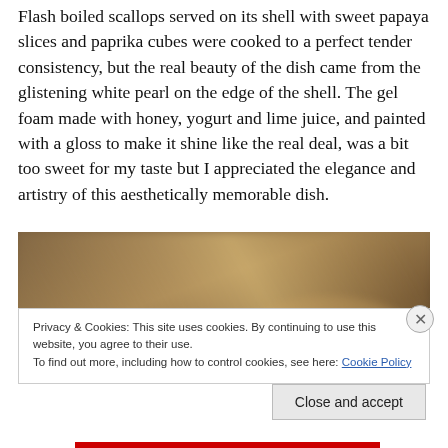Flash boiled scallops served on its shell with sweet papaya slices and paprika cubes were cooked to a perfect tender consistency, but the real beauty of the dish came from the glistening white pearl on the edge of the shell. The gel foam made with honey, yogurt and lime juice, and painted with a gloss to make it shine like the real deal, was a bit too sweet for my taste but I appreciated the elegance and artistry of this aesthetically memorable dish.
[Figure (photo): Blurred warm-toned photograph of a dish or food item on a surface, with golden-brown tones.]
Privacy & Cookies: This site uses cookies. By continuing to use this website, you agree to their use.
To find out more, including how to control cookies, see here: Cookie Policy
Close and accept